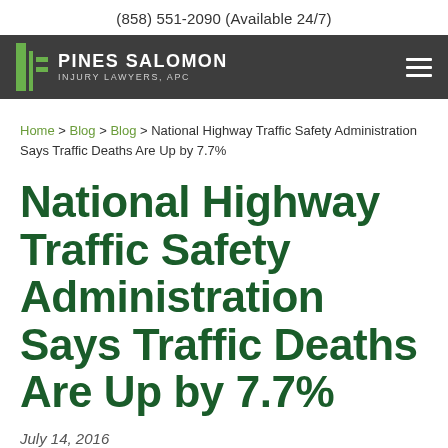(858) 551-2090 (Available 24/7)
[Figure (logo): Pines Salomon Injury Lawyers, APC logo with green column icon on dark grey navigation bar]
Home > Blog > Blog > National Highway Traffic Safety Administration Says Traffic Deaths Are Up by 7.7%
National Highway Traffic Safety Administration Says Traffic Deaths Are Up by 7.7%
July 14, 2016